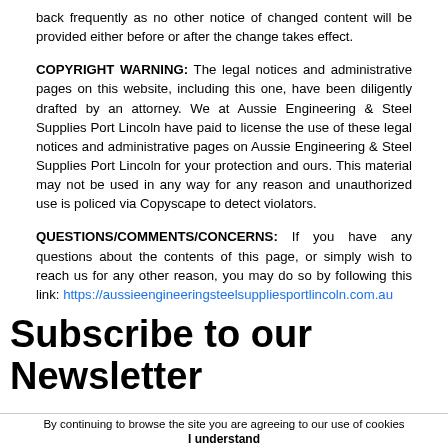back frequently as no other notice of changed content will be provided either before or after the change takes effect.
COPYRIGHT WARNING: The legal notices and administrative pages on this website, including this one, have been diligently drafted by an attorney. We at Aussie Engineering & Steel Supplies Port Lincoln have paid to license the use of these legal notices and administrative pages on Aussie Engineering & Steel Supplies Port Lincoln for your protection and ours. This material may not be used in any way for any reason and unauthorized use is policed via Copyscape to detect violators.
QUESTIONS/COMMENTS/CONCERNS: If you have any questions about the contents of this page, or simply wish to reach us for any other reason, you may do so by following this link: https://aussieengineeringsteelsuppliesportlincoln.com.au
Subscribe to our Newsletter
By continuing to browse the site you are agreeing to our use of cookies
I understand